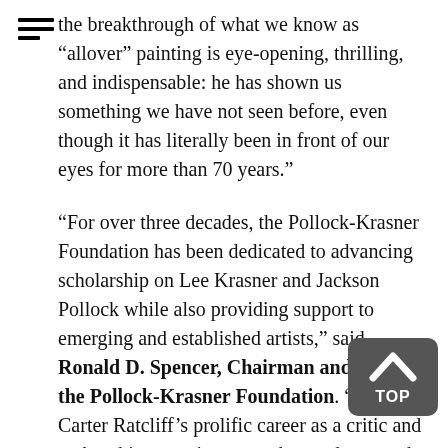the breakthrough of what we know as “allover” painting is eye-opening, thrilling, and indispensable: he has shown us something we have not seen before, even though it has literally been in front of our eyes for more than 70 years.”
“For over three decades, the Pollock-Krasner Foundation has been dedicated to advancing scholarship on Lee Krasner and Jackson Pollock while also providing support to emerging and established artists,” said Ronald D. Spencer, Chairman and CEO of the Pollock-Krasner Foundation. “Given Carter Ratcliff’s prolific career as a critic and author, his commitment to thorough research, and his deep knowledge of Krasner’s work, it is an honor to publish this volume. There has long been an imbalance in the recognition accorded Krasner and Pollock. Ratcliff rebalances their legacies and enables us to see the work of both artists with new eyes.”